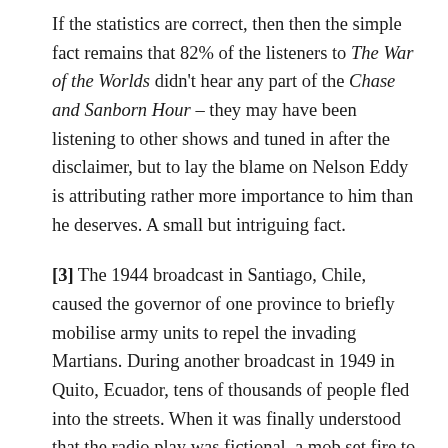If the statistics are correct, then then the simple fact remains that 82% of the listeners to The War of the Worlds didn't hear any part of the Chase and Sanborn Hour – they may have been listening to other shows and tuned in after the disclaimer, but to lay the blame on Nelson Eddy is attributing rather more importance to him than he deserves. A small but intriguing fact.
[3] The 1944 broadcast in Santiago, Chile, caused the governor of one province to briefly mobilise army units to repel the invading Martians. During another broadcast in 1949 in Quito, Ecuador, tens of thousands of people fled into the streets. When it was finally understood that the radio play was fictional, a mob set fire to the radio station concerned, resulting in the deaths of fifteen people. The Ecuador broadcast was even more realistic than Welles' as it used actors to impersonate a number of well-known local politicians and journalists, perhaps explaining the